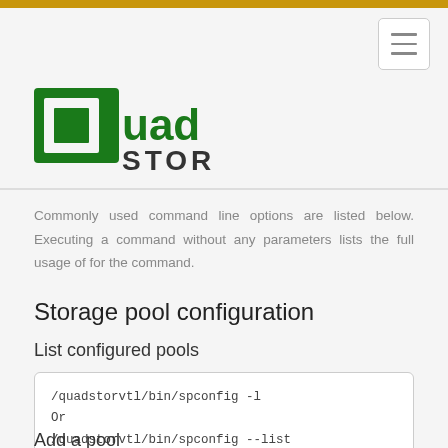[Figure (logo): QuadStor logo with green stylized Q and QUAD STOR text]
Commonly used command line options are listed below. Executing a command without any parameters lists the full usage of for the command.
Storage pool configuration
List configured pools
/quadstorvtl/bin/spconfig -l
Or
/quadstorvtl/bin/spconfig --list
Add a pool